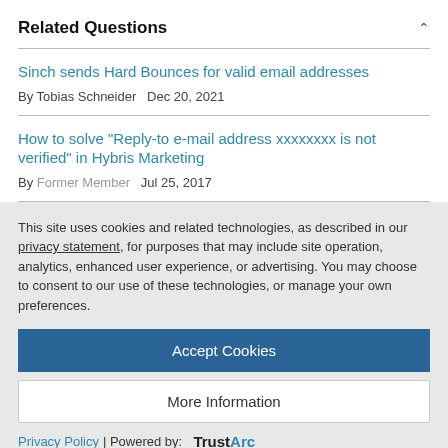Related Questions
Sinch sends Hard Bounces for valid email addresses — By Tobias Schneider  Dec 20, 2021
How to solve "Reply-to e-mail address xxxxxxxx is not verified" in Hybris Marketing — By Former Member  Jul 25, 2017
This site uses cookies and related technologies, as described in our privacy statement, for purposes that may include site operation, analytics, enhanced user experience, or advertising. You may choose to consent to our use of these technologies, or manage your own preferences.
Accept Cookies
More Information
Privacy Policy | Powered by: TrustArc